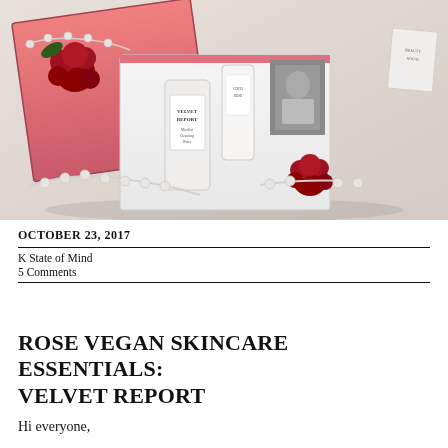[Figure (photo): A pink gift box open containing skincare products including a Velvet Report micellar cleansing water bottle and other beauty items, decorated with red roses and pearl branches on a white surface.]
OCTOBER 23, 2017
K State of Mind
5 Comments
ROSE VEGAN SKINCARE ESSENTIALS: VELVET REPORT
Hi everyone,